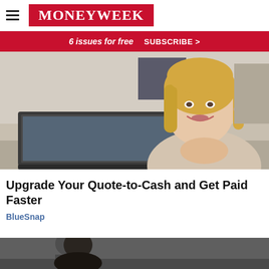MoneyWeek
6 issues for free  SUBSCRIBE >
[Figure (photo): A middle-aged blonde woman in a beige blazer sits at a desk with a laptop, smiling with her hands clasped, in an office setting]
Upgrade Your Quote-to-Cash and Get Paid Faster
BlueSnap
[Figure (photo): Partial view of a second article image at the bottom of the page, showing a person in dark tones]